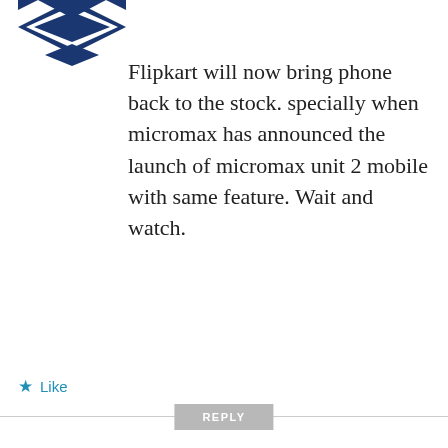[Figure (logo): Partial blue and white geometric logo visible at top left]
Flipkart will now bring phone back to the stock. specially when micromax has announced the launch of micromax unit 2 mobile with same feature. Wait and watch.
★ Like
REPLY
[Figure (logo): Purple cross/plus shaped avatar icon for user varma]
varma
MAY 23, 2014 AT 2:16 PM
Advertisements
[Figure (infographic): WordPress.com advertisement banner with gradient purple-blue background. Text: Simplified pricing for everything you need. WordPress.com logo on right.]